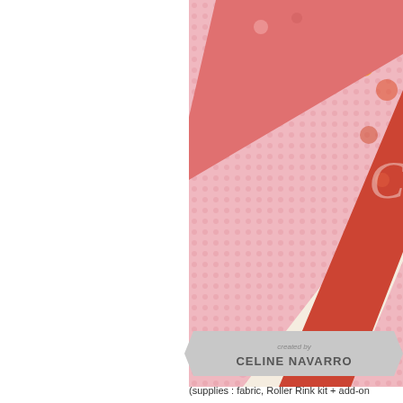[Figure (photo): Photo of quilted fabric pieces with floral and pink dot patterns arranged diagonally, partially cropped on the right side of the page.]
created by CELINE NAVARRO
(supplies : fabric, Roller Rink kit + add-on
[Figure (screenshot): Video thumbnail showing Studio Calico Mini Album tutorial with hands working on fabric/paper album on a wooden table, with scissors visible. Studio Calico logo circle in top left and text 'Studio Calico Mini Alb...' in white.]